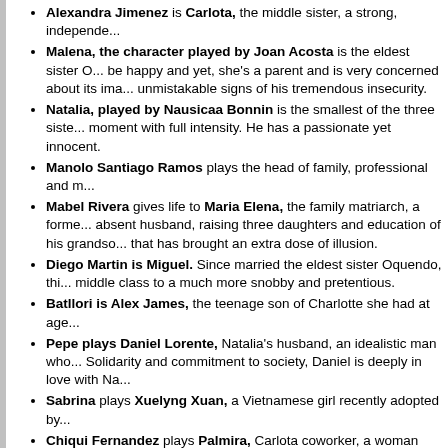Alexandra Jimenez is Carlota, the middle sister, a strong, independe...
Malena, the character played by Joan Acosta is the eldest sister O... be happy and yet, she's a parent and is very concerned about its ima... unmistakable signs of his tremendous insecurity.
Natalia, played by Nausicaa Bonnin is the smallest of the three siste... moment with full intensity. He has a passionate yet innocent.
Manolo Santiago Ramos plays the head of family, professional and m...
Mabel Rivera gives life to Maria Elena, the family matriarch, a forme... absent husband, raising three daughters and education of his grandso... that has brought an extra dose of illusion.
Diego Martin is Miguel. Since married the eldest sister Oquendo, thi... middle class to a much more snobby and pretentious.
Batllori is Alex James, the teenage son of Charlotte she had at age...
Pepe plays Daniel Lorente, Natalia's husband, an idealistic man who... Solidarity and commitment to society, Daniel is deeply in love with Na...
Sabrina plays Xuelyng Xuan, a Vietnamese girl recently adopted by...
Chiqui Fernandez plays Palmira, Carlota coworker, a woman funny,... thoughtless couple find her friend using secret meetings if necessary.
Life Miguelda Miguel de Pedro, Manolo's doctor. As your patient fail... Oquendo family and falls in love with Charlotte.
Lidia Tarrats plays Elena, a young a year older than his son James w...
Trailer of "Family":
Other items of interest in Eslatele: